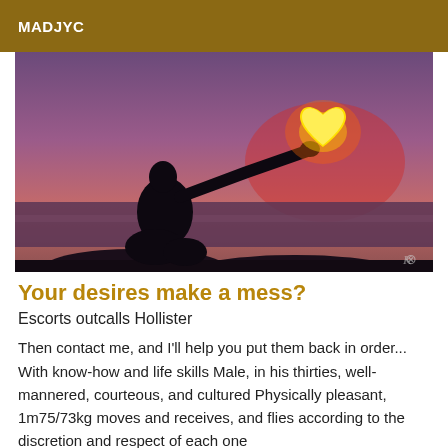MADJYC
[Figure (photo): Silhouette of a person kneeling and holding up a glowing heart-shaped object against a purple-pink sunset sky over the ocean.]
Your desires make a mess?
Escorts outcalls Hollister
Then contact me, and I'll help you put them back in order... With know-how and life skills Male, in his thirties, well-mannered, courteous, and cultured Physically pleasant, 1m75/73kg moves and receives, and flies according to the discretion and respect of each one